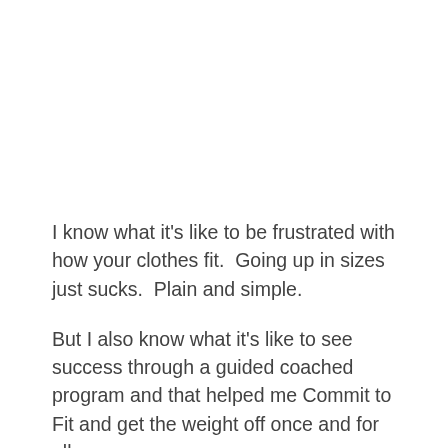I know what it's like to be frustrated with how your clothes fit.  Going up in sizes just sucks.  Plain and simple.
But I also know what it's like to see success through a guided coached program and that helped me Commit to Fit and get the weight off once and for all.
And here's the thing…  Now that I've worked at